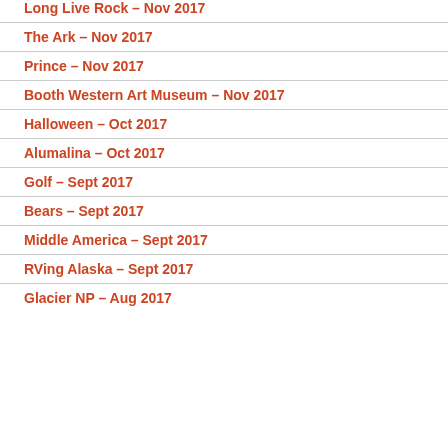Long Live Rock – Nov 2017
The Ark – Nov 2017
Prince – Nov 2017
Booth Western Art Museum – Nov 2017
Halloween – Oct 2017
Alumalina – Oct 2017
Golf – Sept 2017
Bears – Sept 2017
Middle America – Sept 2017
RVing Alaska – Sept 2017
Glacier NP – Aug 2017